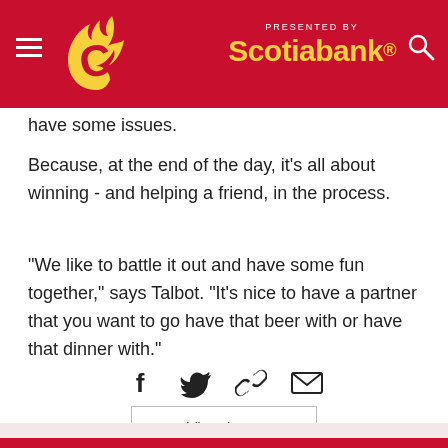Calgary Flames — Presented by Scotiabank
have some issues.
Because, at the end of the day, it's all about winning - and helping a friend, in the process.
"We like to battle it out and have some fun together," says Talbot. "It's nice to have a partner that you want to go have that beer with or have that dinner with."
[Figure (infographic): Social sharing icons: Facebook, Twitter, Link, Email]
View Less